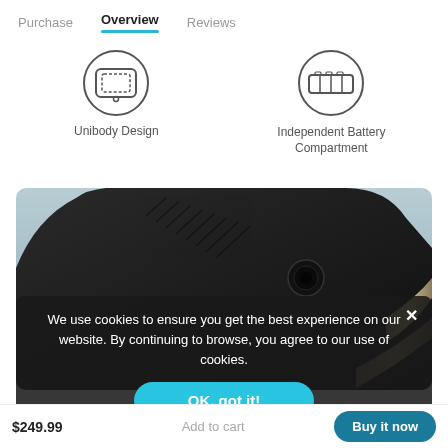Purchase  Overview  Reviews
[Figure (illustration): Icon of a device with circuit/screen inside a circle, representing Unibody Design]
Unibody Design
[Figure (illustration): Icon of a battery compartment inside a circle, representing Independent Battery Compartment]
Independent Battery Compartment
[Figure (photo): Close-up photo of a dark electronic device (appears to be a dashcam or similar) on a grey-blue background]
We use cookies to ensure you get the best experience on our website. By continuing to browse, you agree to our use of cookies.
OK, got it!
$249.99  Add to cart  Buy it now